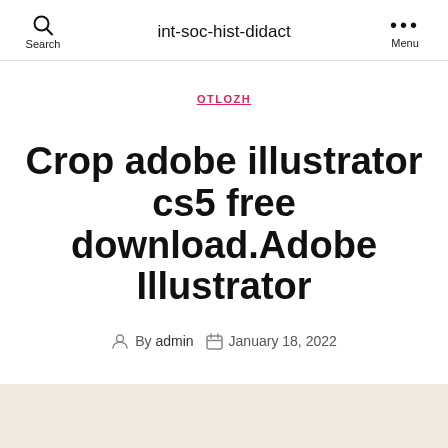Search  int-soc-hist-didact  Menu
OTLOZH
Crop adobe illustrator cs5 free download.Adobe Illustrator
By admin  January 18, 2022